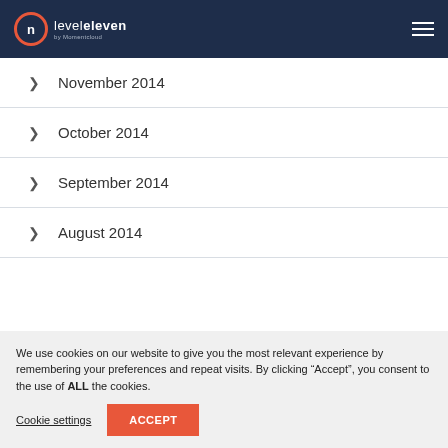LevelEleven by Momentcloud — navigation header
> November 2014
> October 2014
> September 2014
> August 2014
We use cookies on our website to give you the most relevant experience by remembering your preferences and repeat visits. By clicking “Accept”, you consent to the use of ALL the cookies.
Cookie settings   ACCEPT